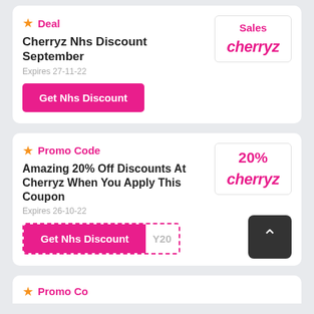Deal
Cherryz Nhs Discount September
Expires 27-11-22
Get Nhs Discount
Sales
cherryz
Promo Code
Amazing 20% Off Discounts At Cherryz When You Apply This Coupon
Expires 26-10-22
Get Nhs Discount
Y20
20%
cherryz
Promo Code